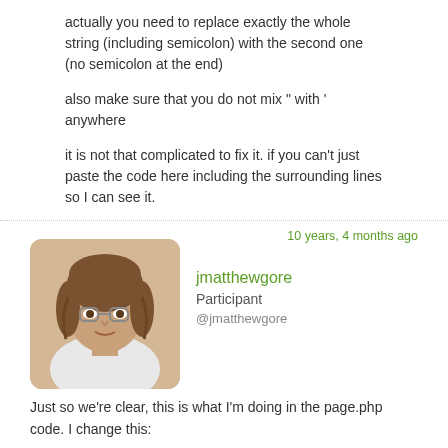actually you need to replace exactly the whole string (including semicolon) with the second one (no semicolon at the end)
also make sure that you do not mix " with ' anywhere
it is not that complicated to fix it. if you can't just paste the code here including the surrounding lines so I can see it.
10 years, 4 months ago
jmatthewgore
Participant
@jmatthewgore
Just so we're clear, this is what I'm doing in the page.php code. I change this:
<?php

suffusion_before_end_post();

comments_template();

?>